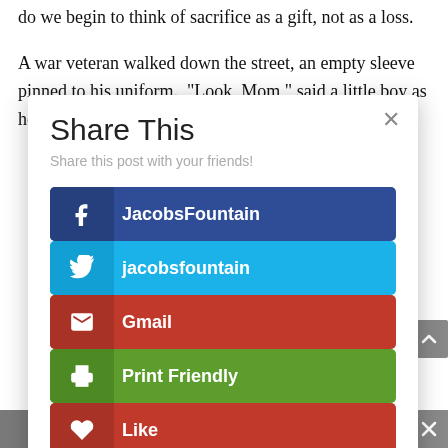do we begin to think of sacrifice as a gift, not as a loss.
A war veteran walked down the street, an empty sleeve pinned to his uniform. “Look, Mom,” said a little boy as he
Share This
Share this post with your friends!
JacobsFountain (Facebook)
jacobsfountain (Twitter)
Gmail
Print Friendly
Like